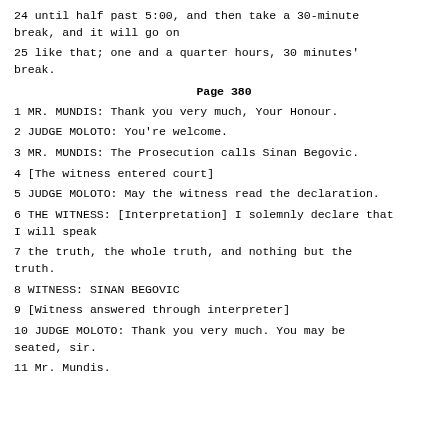24 until half past 5:00, and then take a 30-minute break, and it will go on
25 like that; one and a quarter hours, 30 minutes' break.
Page 380
1 MR. MUNDIS: Thank you very much, Your Honour.
2 JUDGE MOLOTO: You're welcome.
3 MR. MUNDIS: The Prosecution calls Sinan Begovic.
4 [The witness entered court]
5 JUDGE MOLOTO: May the witness read the declaration.
6 THE WITNESS: [Interpretation] I solemnly declare that I will speak
7 the truth, the whole truth, and nothing but the truth.
8 WITNESS: SINAN BEGOVIC
9 [Witness answered through interpreter]
10 JUDGE MOLOTO: Thank you very much. You may be seated, sir.
11 Mr. Mundis.